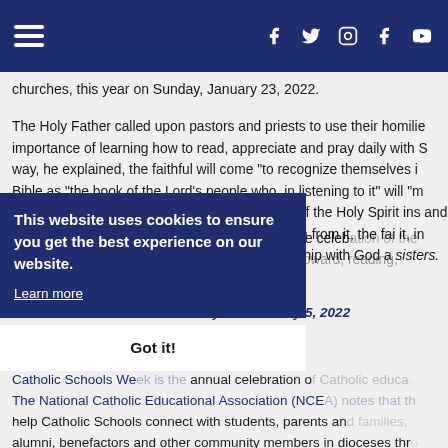Navigation bar with hamburger menu and social media icons (Facebook, Twitter, Instagram, Facebook, YouTube)
churches, this year on Sunday, January 23, 2022.
The Holy Father called upon pastors and priests to use their homilies importance of learning how to read, appreciate and pray daily with S way, he explained, the faithful will come "to recognize themselves i Bible as "the book of the Lord's people who, in listening to it" will "m division toward unity." Through the promptings of the Holy Spirit ins and through the guidance of effective homilies drawn from it, the fai it, in order to acknowledge and live fully our relationship with God a sisters." The Church's entire life of prayer and the celebration of the (the Holy Eucharist) is built upon, and oriented toward, reading, informed and be by the Word of God.
This website uses cookies to ensure you get the best experience on our website.
Learn more
Got it!
Catholic Schools Week: January 30-February 5, 2022
Catholic Schools Week is the annual celebration of Catholic educa The National Catholic Educational Association (NCEA) notes that th help Catholic Schools connect with students, parents and families, alumni, benefactors and other community members in dioceses thro